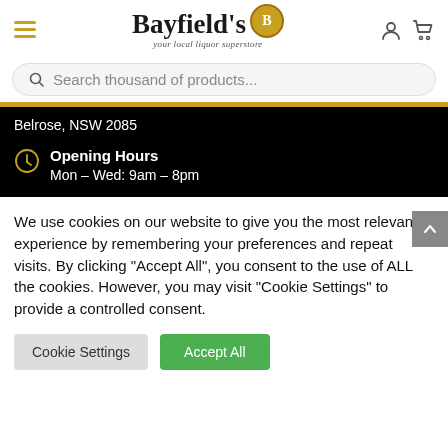[Figure (logo): Bayfield's liquor superstore logo with gold medallion badge and tagline 'your local liquor superstore']
Search thousand of products...
Belrose, NSW 2085
Opening Hours
Mon – Wed: 9am – 8pm
We use cookies on our website to give you the most relevant experience by remembering your preferences and repeat visits. By clicking "Accept All", you consent to the use of ALL the cookies. However, you may visit "Cookie Settings" to provide a controlled consent.